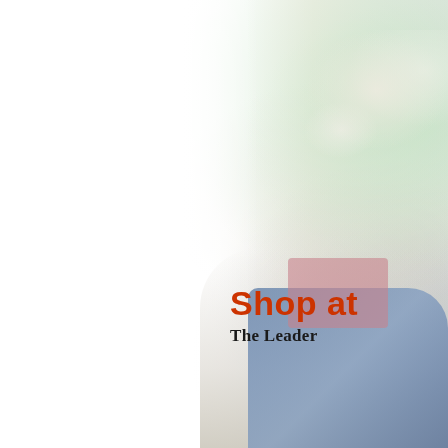[Figure (photo): A blurred lifestyle photo showing a person on a cream/white tufted sofa with blue denim fabric, decorative items on a table including light-colored objects, green plants in background. Left half is mostly white/washed out. Text overlay reads 'Shop at' in orange/red and green, with 'The Leader' in black below. A pink/rose colored semi-transparent box appears near the bottom center-right. A yellow vertical bar runs along the left edge.]
Shop at
The Leader